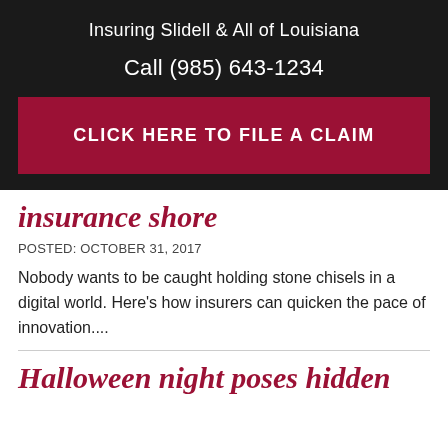Insuring Slidell & All of Louisiana
Call (985) 643-1234
CLICK HERE TO FILE A CLAIM
insurance shore
POSTED: OCTOBER 31, 2017
Nobody wants to be caught holding stone chisels in a digital world. Here's how insurers can quicken the pace of innovation....
Halloween night poses hidden